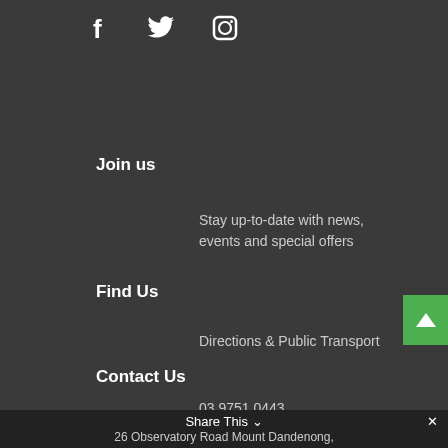[Figure (other): Social media icons: Facebook (f), Twitter (bird), Instagram (camera outline)]
Join us
Stay up-to-date with news, events and special offers
Find Us
Directions & Public Transport
Contact Us
03 9751 0443
Share This  ✕
26 Observatory Road Mount Dandenong,